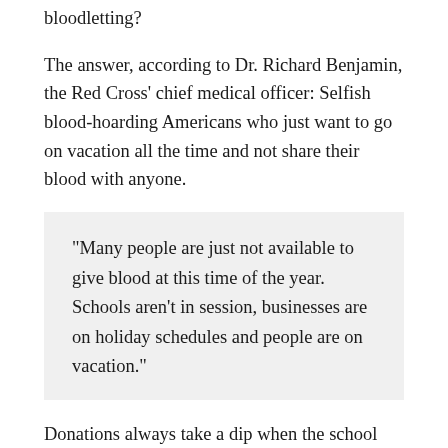bloodletting?
The answer, according to Dr. Richard Benjamin, the Red Cross' chief medical officer: Selfish blood-hoarding Americans who just want to go on vacation all the time and not share their blood with anyone.
"Many people are just not available to give blood at this time of the year. Schools aren't in session, businesses are on holiday schedules and people are on vacation."
Donations always take a dip when the school year ends because a large percentage of them come from high school and college campuses, where promises of free